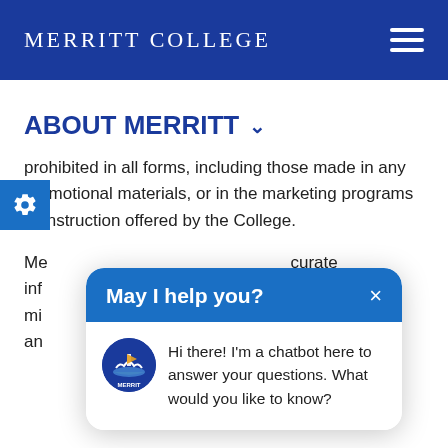MERRITT COLLEGE
ABOUT MERRITT ∨
prohibited in all forms, including those made in any promotional materials, or in the marketing programs of instruction offered by the College.
Me[...] accurate inf[...] prohibits all [...] s or mi[...] de i[...] an[...]
[Figure (screenshot): Chatbot popup overlay with 'May I help you?' header in blue, close button (×), Merritt College logo avatar, and message: 'Hi there! I'm a chatbot here to answer your questions. What would you like to know?']